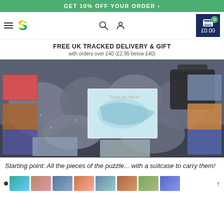GET 10% OFF YOUR ORDER >
[Figure (screenshot): Website navigation bar with hamburger menu, colorful S logo, search icon, user icon, and shopping cart showing £0.00 with item count 0]
FREE UK TRACKED DELIVERY & GIFT
with orders over £40 (£2.95 below £40)
[Figure (photo): Photo of puzzle pieces in bags alongside multiple puzzle box images showing travel/world themed jigsaw puzzles, spread out on a dark surface with a suitcase in the background]
Starting point: All the pieces of the puzzle... with a suitcase to carry them!
[Figure (screenshot): Horizontal thumbnail strip showing multiple small preview images of puzzle products in various colors, with a navigation dot on the left and scroll arrow on the right]